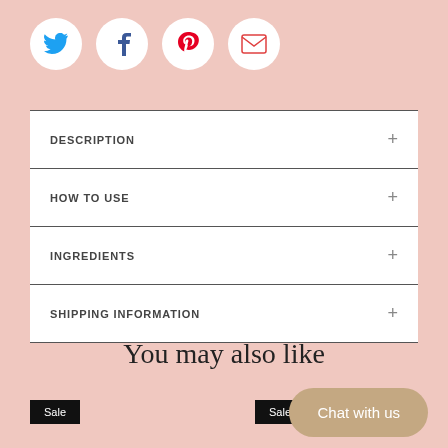[Figure (other): Row of four social media icon circles: Twitter (blue bird), Facebook (blue f), Pinterest (red P), Email (red envelope)]
| DESCRIPTION | + |
| HOW TO USE | + |
| INGREDIENTS | + |
| SHIPPING INFORMATION | + |
You may also like
Sale
Sale
Chat with us